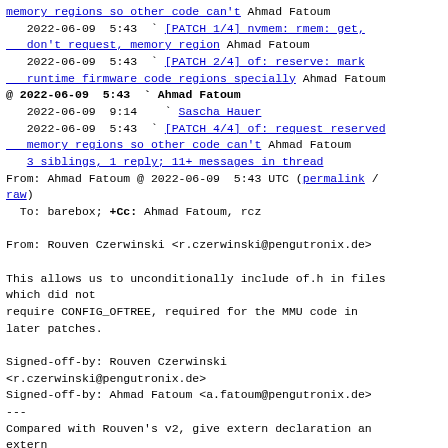memory regions so other code can't Ahmad Fatoum
   2022-06-09  5:43  ` [PATCH 1/4] nvmem: rmem: get, don't request, memory region Ahmad Fatoum
   2022-06-09  5:43  ` [PATCH 2/4] of: reserve: mark runtime firmware code regions specially Ahmad Fatoum
@ 2022-06-09  5:43  ` Ahmad Fatoum
   2022-06-09  9:14    ` Sascha Hauer
   2022-06-09  5:43  ` [PATCH 4/4] of: request reserved memory regions so other code can't Ahmad Fatoum
   3 siblings, 1 reply; 11+ messages in thread
From: Ahmad Fatoum @ 2022-06-09  5:43 UTC (permalink / raw)
  To: barebox; +Cc: Ahmad Fatoum, rcz

From: Rouven Czerwinski <r.czerwinski@pengutronix.de>

This allows us to unconditionally include of.h in files which did not
require CONFIG_OFTREE, required for the MMU code in later patches.

Signed-off-by: Rouven Czerwinski
<r.czerwinski@pengutronix.de>
Signed-off-by: Ahmad Fatoum <a.fatoum@pengutronix.de>
---
Compared with Rouven's v2, give extern declaration an extern
in front like functions around it. Move static inline stub
to top of #else for symmetry.